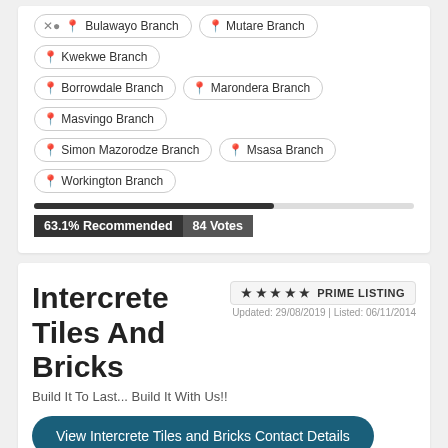Bulawayo Branch
Mutare Branch
Kwekwe Branch
Borrowdale Branch
Marondera Branch
Masvingo Branch
Simon Mazorodze Branch
Msasa Branch
Workington Branch
63.1% Recommended | 84 Votes
Intercrete Tiles And Bricks
Build It To Last... Build It With Us!!
PRIME LISTING
Updated: 29/08/2019 | Listed: 06/11/2014
View Intercrete Tiles and Bricks Contact Details
Factory/Head Office
Harare Sales Office
Gweru Sales Office
Mutare Sales Office
Masvingo Sales Office
35.3% Recommended | 17 Votes